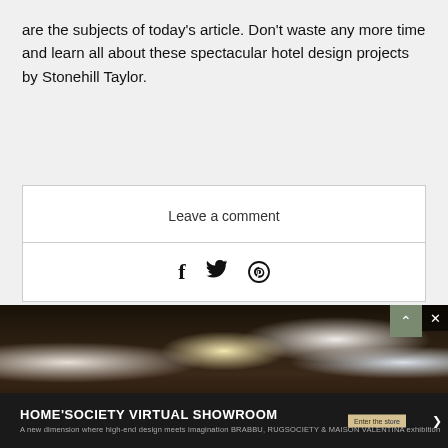are the subjects of today's article. Don't waste any more time and learn all about these spectacular hotel design projects by Stonehill Taylor.
Leave a comment
[Figure (photo): Interior of a modern hotel lobby or dining area with dramatic pendant lighting, arched windows, bookshelves, and a dark ceiling with hanging Edison-style bulbs]
HOME'SOCIETY VIRTUAL SHOWROOM
A new dimension where high-end design meets imagination BRABBU, RUGSOCIETY & MAISON VALENTINA exhibition